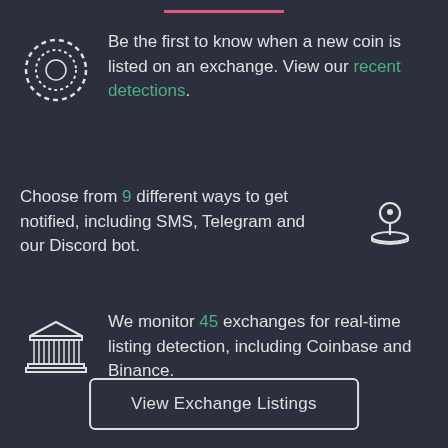Be the first to know when a new coin is listed on an exchange. View our recent detections.
Choose from 9 different ways to get notified, including SMS, Telegram and our Discord bot.
We monitor 45 exchanges for real-time listing detection, including Coinbase and Binance.
View Exchange Listings